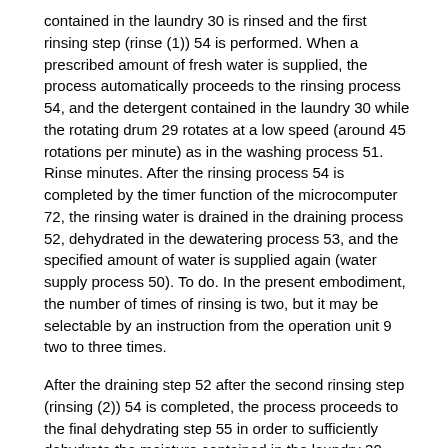contained in the laundry 30 is rinsed and the first rinsing step (rinse (1)) 54 is performed. When a prescribed amount of fresh water is supplied, the process automatically proceeds to the rinsing process 54, and the detergent contained in the laundry 30 while the rotating drum 29 rotates at a low speed (around 45 rotations per minute) as in the washing process 51. Rinse minutes. After the rinsing process 54 is completed by the timer function of the microcomputer 72, the rinsing water is drained in the draining process 52, dehydrated in the dewatering process 53, and the specified amount of water is supplied again (water supply process 50). To do. In the present embodiment, the number of times of rinsing is two, but it may be selectable by an instruction from the operation unit 9 two to three times.
After the draining step 52 after the second rinsing step (rinsing (2)) 54 is completed, the process proceeds to the final dehydrating step 55 in order to sufficiently dehydrate the moisture contained in the laundry 30. The dewatering time of the final dewatering step 55 is generally 5 minutes or longer, and the rotating drum 29 is rotated at a high speed to remove the moisture of the laundry 30 by